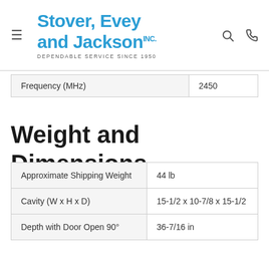Stover, Evey and Jackson INC. — DEPENDABLE SERVICE SINCE 1950
| Frequency (MHz) | 2450 |
Weight and Dimensions
| Approximate Shipping Weight | 44 lb |
| Cavity (W x H x D) | 15-1/2 x 10-7/8 x 15-1/2 |
| Depth with Door Open 90° | 36-7/16 in |